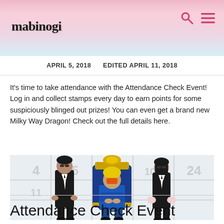mabinogi (logo with search and menu icons)
APRIL 5, 2018   EDITED APRIL 11, 2018
It's time to take attendance with the Attendance Check Event! Log in and collect stamps every day to earn points for some suspiciously blinged out prizes! You can even get a brand new Milky Way Dragon! Check out the full details here.
[Figure (illustration): Game artwork showing three characters in front of a calendar grid: two characters in black suits flanking a central character seated on an ornate golden throne. Numbers 4, 5, 11, 24 visible on calendar grid behind them.]
Attendance Check Event